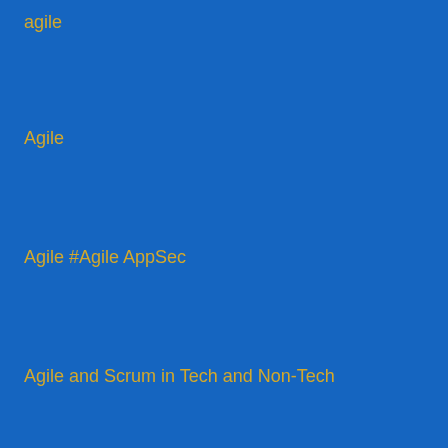agile
Agile
Agile #Agile AppSec
Agile and Scrum in Tech and Non-Tech
Agile author
Agile Author
Agile author
Agile Benefits
Agile Beyond IT